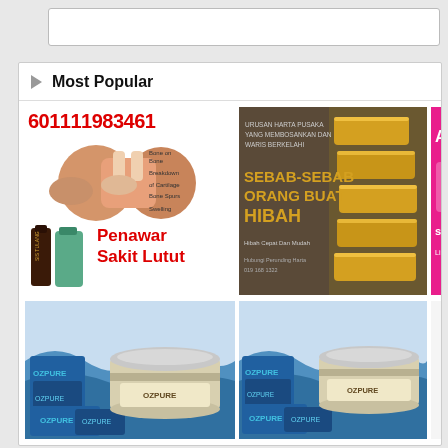Most Popular
[Figure (photo): Product advertisement with phone number 601111983461, knee pain imagery, and text Penawar Sakit Lutut]
[Figure (photo): Dark brown/grey card with gold bars image reading: URUSAN HARTA PUSAKA YANG MEMBOSANKAN DAN WARIS BERKELAHI - SEBAB-SEBAB ORANG BUAT HIBAH - Hibah Cepat Dan Mudah - Hubungi Perunding Harta]
[Figure (photo): Pink background with text AGENT and Limited offer, product advertisement]
[Figure (photo): OZPURE product cream jar with blue ocean themed boxes]
[Figure (photo): OZPURE product cream jar with blue ocean themed boxes (second listing)]
[Figure (photo): Partial image of tweezers or tool on right side]